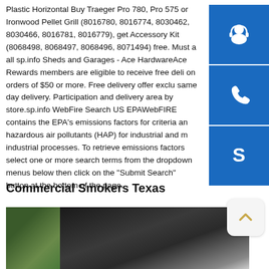Plastic Horizontal Buy Traeger Pro 780, Pro 575 or Ironwood Pellet Grill (8016780, 8016774, 8030462, 8030466, 8016781, 8016779), get Accessory Kit (8068498, 8068497, 8068496, 8071494) free. Must a all sp.info Sheds and Garages - Ace HardwareAce Rewards members are eligible to receive free deli on orders of $50 or more. Free delivery offer exclu same day delivery. Participation and delivery area by store.sp.info WebFire Search US EPAWebFIRE contains the EPA's emissions factors for criteria an hazardous air pollutants (HAP) for industrial and m industrial processes. To retrieve emissions factors select one or more search terms from the dropdown menus below then click on the "Submit Search" button at the bottom of the page.
[Figure (infographic): Three blue icon buttons on the right side: customer support headset icon, phone icon, Skype icon]
Commercial Smokers Texas
[Figure (photo): Photo of commercial smokers/grills, with green foliage on the left and dark metallic equipment on the right]
[Figure (other): Scroll to top button with an upward arrow chevron icon]